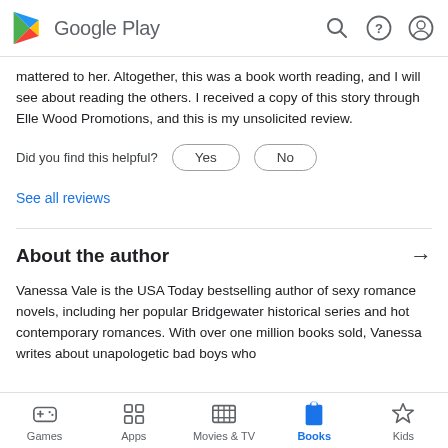Google Play
mattered to her. Altogether, this was a book worth reading, and I will see about reading the others. I received a copy of this story through Elle Wood Promotions, and this is my unsolicited review.
Did you find this helpful?  Yes  No
See all reviews
About the author
Vanessa Vale is the USA Today bestselling author of sexy romance novels, including her popular Bridgewater historical series and hot contemporary romances. With over one million books sold, Vanessa writes about unapologetic bad boys who
Games  Apps  Movies & TV  Books  Kids